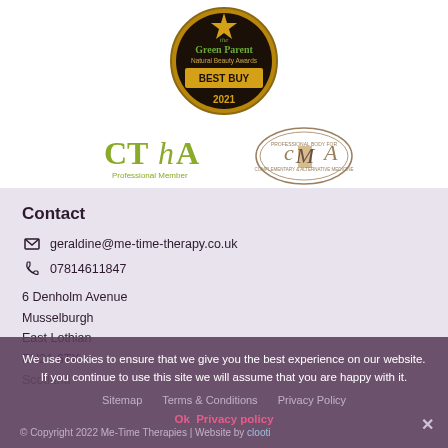[Figure (logo): The Green Parent Natural Beauty Awards Best Buy 2021 badge - circular gold and black award logo with star]
[Figure (logo): CThA Professional Member logo in olive/gold text]
[Figure (logo): CMA (Complementary Medical Association) oval logo]
Contact
geraldine@me-time-therapy.co.uk
07814611847
6 Denholm Avenue
Musselburgh
East Lothian
EH21 6TX
Scotland
We use cookies to ensure that we give you the best experience on our website. If you continue to use this site we will assume that you are happy with it.
Sitemap     Terms & Conditions     Privacy Policy
Ok  Privacy policy
© Copyright 2022 Me-Time Therapies | Website by clooti